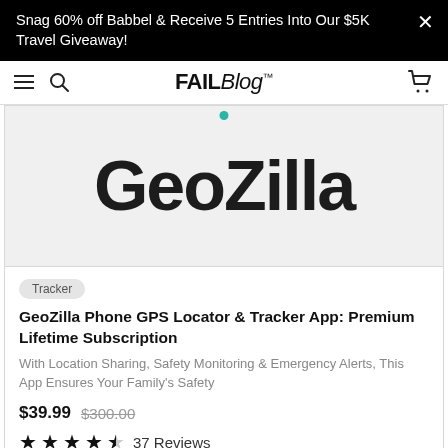Snag 60% off Babbel & Receive 5 Entries Into Our $5K Travel Giveaway!
[Figure (logo): FAILBlog logo with hamburger menu, search icon, and cart icon navigation bar]
[Figure (logo): GeoZilla brand logo displayed in large bold text on light gray background]
Tracker
GeoZilla Phone GPS Locator & Tracker App: Premium Lifetime Subscription
With Location Sharing, Safety Monitoring & Emergency Alerts, This App Ensures Your Family's Safety
$39.99  $300.00
★★★★☆  37 Reviews